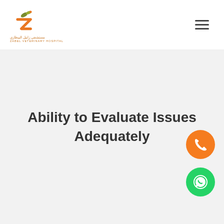[Figure (logo): Zabel Veterinary Hospital logo with Arabic text and stylized Z bird icon in orange and olive green]
[Figure (other): Hamburger menu icon (three horizontal lines)]
Ability to Evaluate Issues Adequately
[Figure (other): Orange circular phone/call button]
[Figure (other): Green circular WhatsApp button]